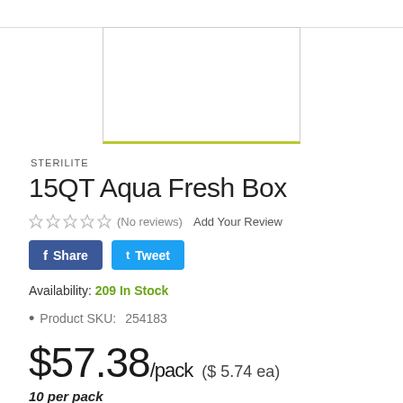[Figure (photo): Product image placeholder — white box with olive/yellow-green bottom border]
STERILITE
15QT Aqua Fresh Box
☆ ☆ ☆ ☆ ☆  (No reviews)  Add Your Review
f Share   t Tweet
Availability: 209 In Stock
Product SKU:   254183
$57.38/pack  ($ 5.74 ea)
10 per pack